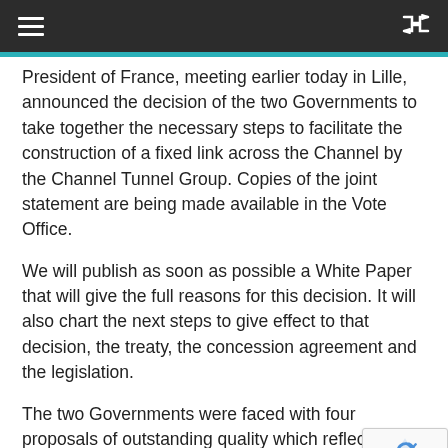Navigation header bar with hamburger menu and shuffle icon
President of France, meeting earlier today in Lille, announced the decision of the two Governments to take together the necessary steps to facilitate the construction of a fixed link across the Channel by the Channel Tunnel Group. Copies of the joint statement are being made available in the Vote Office.
We will publish as soon as possible a White Paper that will give the full reasons for this decision. It will also chart the next steps to give effect to that decision, the treaty, the concession agreement and the legislation.
The two Governments were faced with four proposals of outstanding quality which reflect credit on the firms involved. It is remarkable that